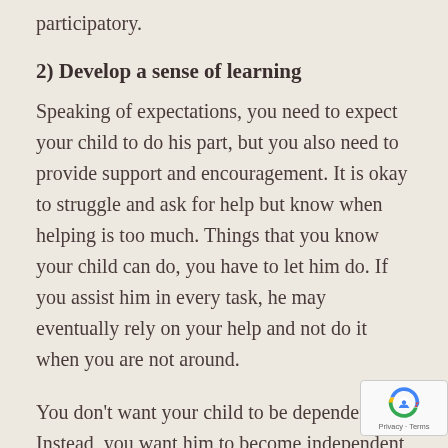participatory.
2) Develop a sense of learning
Speaking of expectations, you need to expect your child to do his part, but you also need to provide support and encouragement. It is okay to struggle and ask for help but know when helping is too much. Things that you know your child can do, you have to let him do. If you assist him in every task, he may eventually rely on your help and not do it when you are not around.
You don’t want your child to be dependent. Instead, you want him to become independent by being proactive with his own learning and practicing a lot. Your presence counts, but might want to distance yourself if it breeds